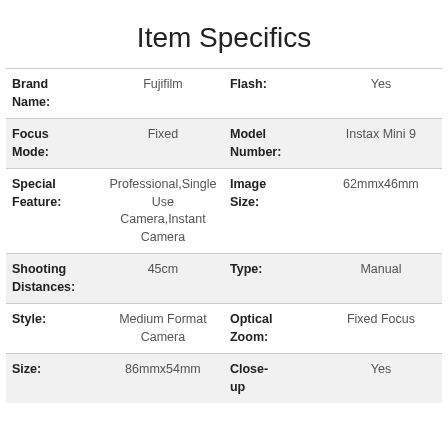Item Specifics
| Label | Value | Label | Value |
| --- | --- | --- | --- |
| Brand Name: | Fujifilm | Flash: | Yes |
| Focus Mode: | Fixed | Model Number: | Instax Mini 9 |
| Special Feature: | Professional,Single Use Camera,Instant Camera | Image Size: | 62mmx46mm |
| Shooting Distances: | 45cm | Type: | Manual |
| Style: | Medium Format Camera | Optical Zoom: | Fixed Focus |
| Size: | 86mmx54mm | Close-up | Yes |